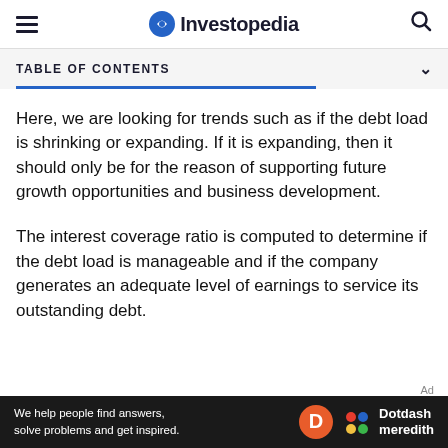Investopedia
TABLE OF CONTENTS
Here, we are looking for trends such as if the debt load is shrinking or expanding. If it is expanding, then it should only be for the reason of supporting future growth opportunities and business development.
The interest coverage ratio is computed to determine if the debt load is manageable and if the company generates an adequate level of earnings to service its outstanding debt.
[Figure (other): Dotdash Meredith advertisement banner: 'We help people find answers, solve problems and get inspired.']